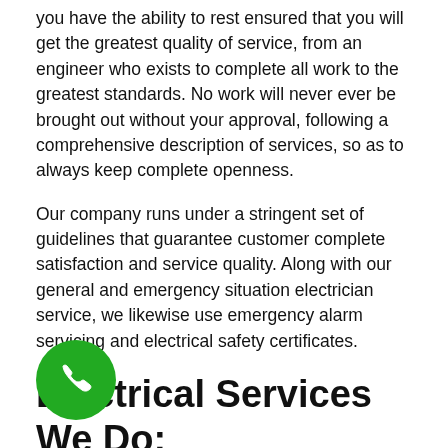you have the ability to rest ensured that you will get the greatest quality of service, from an engineer who exists to complete all work to the greatest standards. No work will never ever be brought out without your approval, following a comprehensive description of services, so as to always keep complete openness.
Our company runs under a stringent set of guidelines that guarantee customer complete satisfaction and service quality. Along with our general and emergency situation electrician service, we likewise use emergency alarm servicing and electrical safety certificates.
Electrical Services We Do:
Complete and partial rewiring, Electric heaters, Electric radiators, Electrical fault finding, Consumer unit replacements, CU points, Additional sockets, Circuit board installs, Circuit breaker repairs, Domestic appliances, Door entry systems, Earthing ports and bonding, External lighting, Fuse
[Figure (illustration): Green circular phone call button icon in the bottom left of the page]